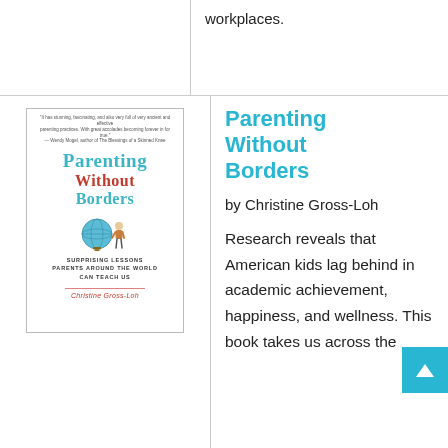workplaces.
[Figure (illustration): Book cover of 'Parenting Without Borders' by Christine Gross-Loh, showing title in teal and red serif fonts, a small globe and child figure illustration, subtitle 'Surprising Lessons Parents Around the World Can Teach Us']
Parenting Without Borders
by Christine Gross-Loh
Research reveals that American kids lag behind in academic achievement, happiness, and wellness. This book takes us across the